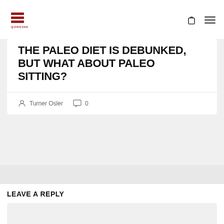[Figure (logo): Qore360 logo with red horizontal bars and brand name]
THE PALEO DIET IS DEBUNKED, BUT WHAT ABOUT PALEO SITTING?
Turner Osler   0
LEAVE A REPLY